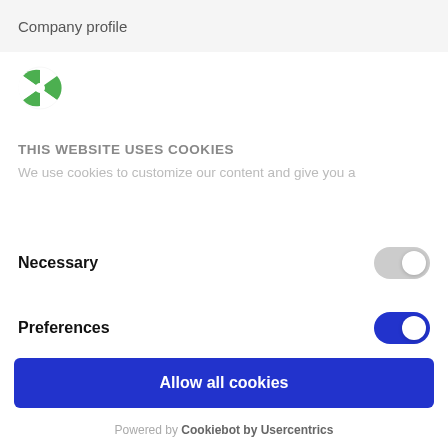Company profile
[Figure (logo): Green and white circular logo with fan/pinwheel design]
THIS WEBSITE USES COOKIES
We use cookies to customize our content and give you a
Necessary
Preferences
Allow all cookies
Allow selected
Powered by Cookiebot by Usercentrics